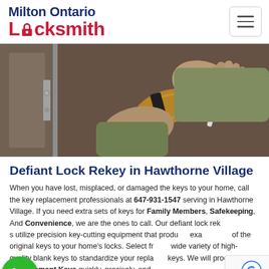[Figure (logo): Milton Ontario Locksmith logo with stylized lock icon replacing the 'o' in Locksmith]
[Figure (photo): Close-up photo of a person's hands inserting/working on a brass door lock cylinder on a door]
Defiant Lock Rekey in Hawthorne Village
When you have lost, misplaced, or damaged the keys to your home, call the key replacement professionals at 647-931-1547 serving in Hawthorne Village. If you need extra sets of keys for Family Members, Safekeeping, And Convenience, we are the ones to call. Our defiant lock rekey specialists utilize precision key-cutting equipment that produces exact duplicates of the original keys to your home's locks. Select from a wide variety of high-quality blank keys to standardize your replacement keys. We will produce your Replacement Keys quickly, precisely, and